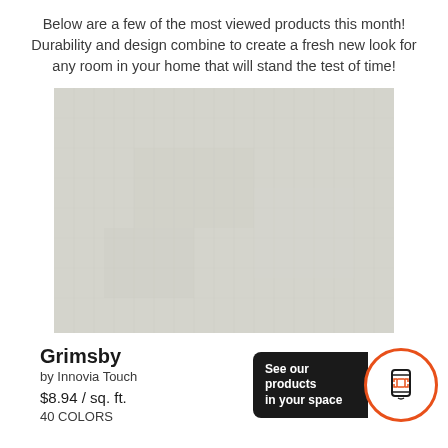Below are a few of the most viewed products this month! Durability and design combine to create a fresh new look for any room in your home that will stand the test of time!
[Figure (photo): Close-up photo of a light grey textured carpet/flooring material — the Grimsby by Innovia Touch]
Grimsby
by Innovia Touch
$8.94 / sq. ft.
40 COLORS
[Figure (other): AR button showing 'See our products in your space' with a phone/scan icon in an orange circle]